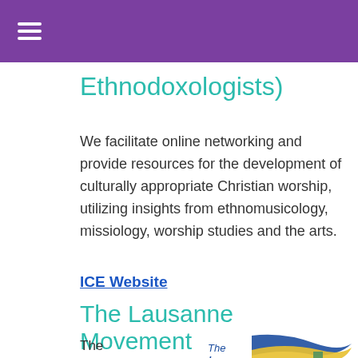≡
Ethnodoxologists)
We facilitate online networking and provide resources for the development of culturally appropriate Christian worship, utilizing insights from ethnomusicology, missiology, worship studies and the arts.
ICE Website
The Lausanne Movement
The Lausanne Movement
[Figure (logo): The Lausanne Movement logo with flowing ribbon design in blue, yellow, and teal, with 'The Lausanne' text]